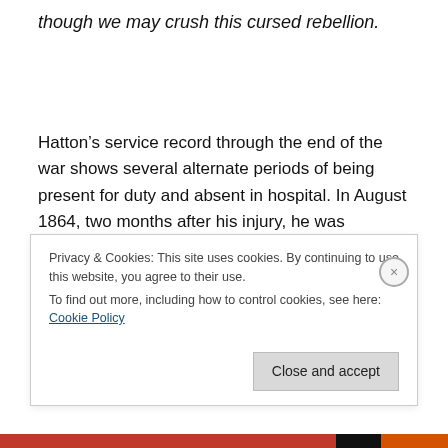though we may crush this cursed rebellion.
Hatton’s service record through the end of the war shows several alternate periods of being present for duty and absent in hospital. In August 1864, two months after his injury, he was transferred to the Summit House General Hospital in Philadelphia, where his wound was treated with “cold water dressing.” He was returned to duty in late
Privacy & Cookies: This site uses cookies. By continuing to use this website, you agree to their use.
To find out more, including how to control cookies, see here: Cookie Policy
Close and accept